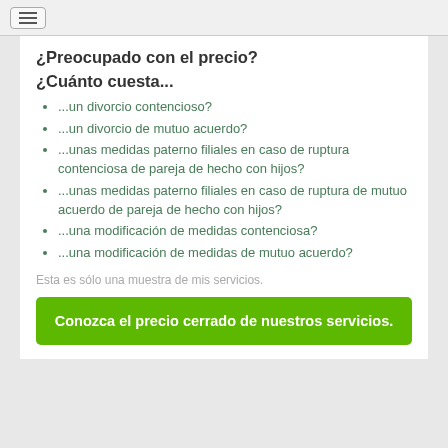≡
¿Preocupado con el precio?
¿Cuánto cuesta...
...un divorcio contencioso?
...un divorcio de mutuo acuerdo?
...unas medidas paterno filiales en caso de ruptura contenciosa de pareja de hecho con hijos?
...unas medidas paterno filiales en caso de ruptura de mutuo acuerdo de pareja de hecho con hijos?
...una modificación de medidas contenciosa?
...una modificación de medidas de mutuo acuerdo?
Esta es sólo una muestra de mis servicios.
Conozca el precio cerrado de nuestros servicios.